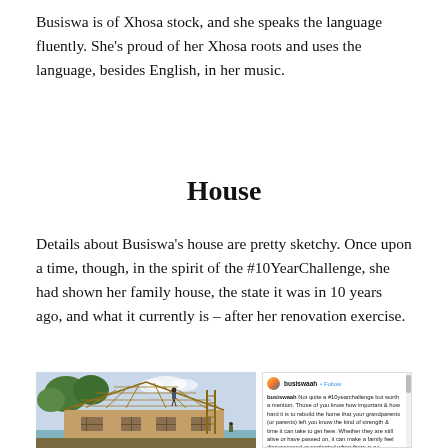Busiswa is of Xhosa stock, and she speaks the language fluently. She’s proud of her Xhosa roots and uses the language, besides English, in her music.
House
Details about Busiswa’s house are pretty sketchy. Once upon a time, though, in the spirit of the #10YearChallenge, she had shown her family house, the state it was in 10 years ago, and what it currently is – after her renovation exercise.
[Figure (photo): Photo of a house under construction/renovation with exposed roof framing, brick walls, and workers on scaffolding, alongside an Instagram post by busiswaah showing the same scene with caption about rebuilding the family home.]